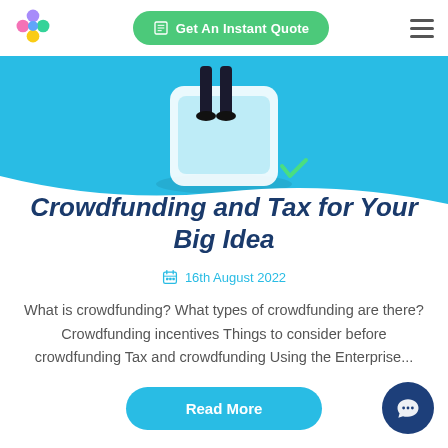[Figure (logo): Colorful star/snowflake logo with pink, blue, green, yellow dots]
[Figure (other): Green pill-shaped button with calculator icon: Get An Instant Quote]
[Figure (illustration): Blue banner with illustration of a person standing next to a phone/tablet, with a checkmark]
Crowdfunding and Tax for Your Big Idea
16th August 2022
What is crowdfunding? What types of crowdfunding are there? Crowdfunding incentives Things to consider before crowdfunding Tax and crowdfunding Using the Enterprise...
[Figure (other): Blue pill-shaped Read More button]